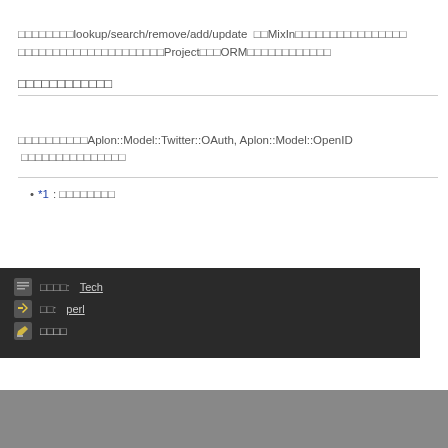□□□□□□□□lookup/search/remove/add/update □□MixIn□□□□□□□□□□□□□□□□□□□□□□□□□□□□□□□□□□□Project□□□ORM□□□□□□□□□□□□
□□□□□□□□□□□□
□□□□□□□□□□Aplon::Model::Twitter::OAuth, Aplon::Model::OpenID □□□□□□□□□□□□□□□
*1 : □□□□□□□□
□□□□: Tech
□□: perl
□□□□
□□□□: Tech | □□: perl | □□□□